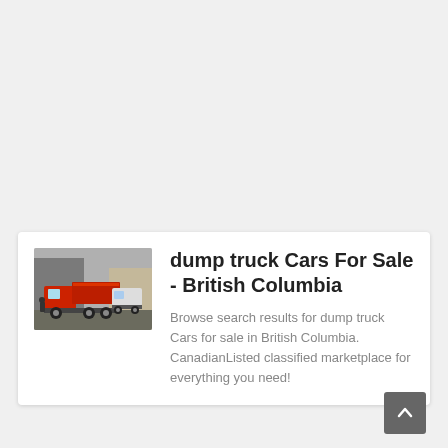[Figure (photo): Photo of red dump trucks parked in a lot]
dump truck Cars For Sale - British Columbia
Browse search results for dump truck Cars for sale in British Columbia. CanadianListed classified marketplace for everything you need!